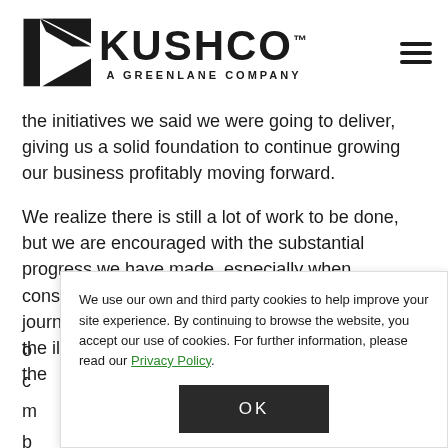KUSHCO™ A GREENLANE COMPANY
the initiatives we said we were going to deliver, giving us a solid foundation to continue growing our business profitably moving forward.
We realize there is still a lot of work to be done, but we are encouraged with the substantial progress we have made, especially when considering the challenging, but constructive, journey we underwent in fiscal 2020, starting with the illicit market vape crisis and culminating with the o... c... m... b... li... e...
We use our own and third party cookies to help improve your site experience. By continuing to browse the website, you accept our use of cookies. For further information, please read our Privacy Policy.
OK